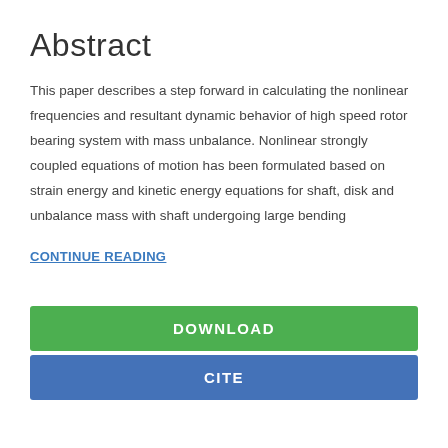Abstract
This paper describes a step forward in calculating the nonlinear frequencies and resultant dynamic behavior of high speed rotor bearing system with mass unbalance. Nonlinear strongly coupled equations of motion has been formulated based on strain energy and kinetic energy equations for shaft, disk and unbalance mass with shaft undergoing large bending
CONTINUE READING
DOWNLOAD
CITE